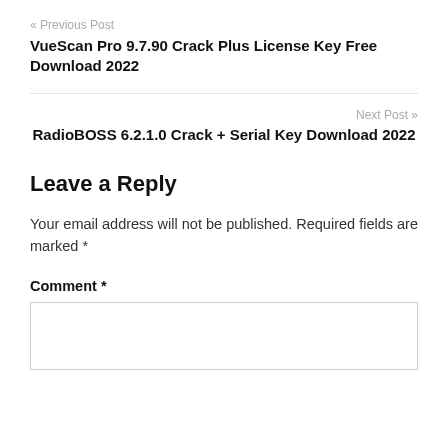« Previous Post
VueScan Pro 9.7.90 Crack Plus License Key Free Download 2022
Next Post »
RadioBOSS 6.2.1.0 Crack + Serial Key Download 2022
Leave a Reply
Your email address will not be published. Required fields are marked *
Comment *